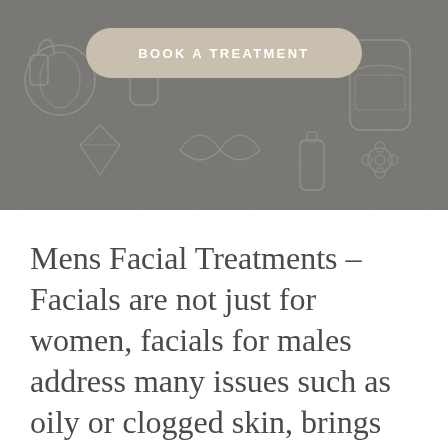[Figure (illustration): Gray banner background with subtle sketched cosmetic/beauty product illustrations in a slightly darker gray tone]
BOOK A TREATMENT
Mens Facial Treatments – Facials are not just for women, facials for males address many issues such as oily or clogged skin, brings glow to a dull look, is great for assisting in anti-